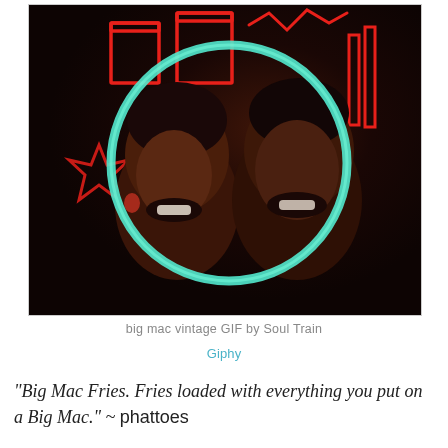[Figure (photo): Two people smiling with mouths open, framed inside a large teal/cyan glowing circle, with red neon shapes in the dark background. Appears to be a vintage Soul Train GIF screenshot.]
big mac vintage GIF by Soul Train
Giphy
"Big Mac Fries. Fries loaded with everything you put on a Big Mac." ~ phattoes